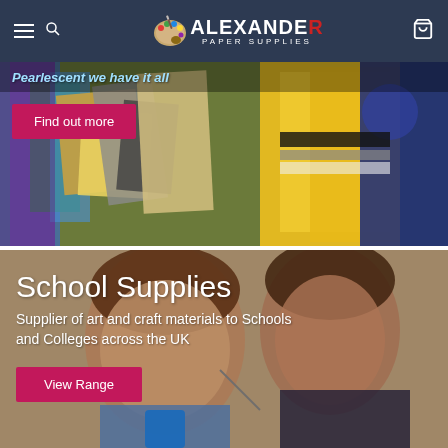[Figure (logo): Alexander Paper Supplies logo with paint palette icon and brand name]
[Figure (photo): Banner showing colorful paper supplies, card and craft materials with 'Pearlescent we have it all' text and a Find out more button]
Find out more
[Figure (photo): School Supplies banner with children doing art and craft. Text: 'School Supplies - Supplier of art and craft materials to Schools and Colleges across the UK' with View Range button]
School Supplies
Supplier of art and craft materials to Schools and Colleges across the UK
View Range